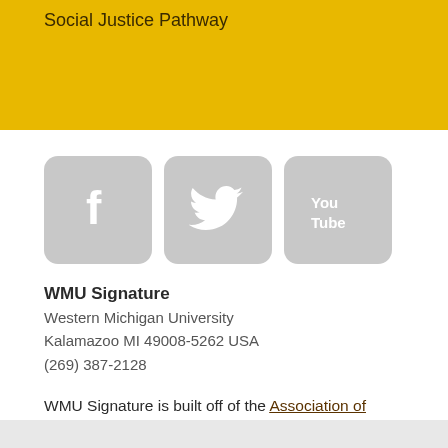Social Justice Pathway
[Figure (illustration): Three social media icon boxes: Facebook (f), Twitter (bird), YouTube (You Tube) — all grey rounded squares]
WMU Signature
Western Michigan University
Kalamazoo MI 49008-5262 USA
(269) 387-2128
WMU Signature is built off of the Association of American Colleges & Universities Capstones and Signature Work project